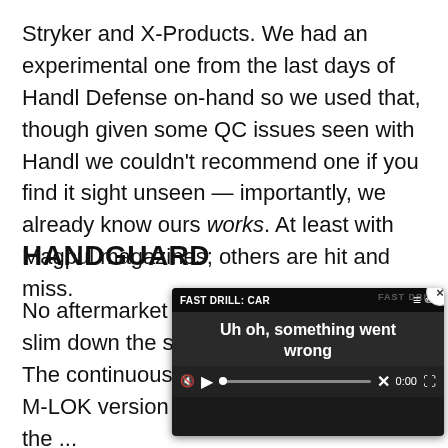Stryker and X-Products. We had an experimental one from the last days of Handl Defense on-hand so we used that, though given some QC issues seen with Handl we couldn't recommend one if you find it sight unseen — importantly, we already know ours works. At least with Magpul magazines; others are hit and miss.
HANDGUARD
No aftermarket here — we decided to slim down the system by removing th... The continuous bottom rai... KeyMod or M-LOK version... or perhaps we'll mill all the... for a bipod.
[Figure (screenshot): Video player overlay showing 'FAST DRILL: CAR' title with error message 'Uh oh, something went wrong', video controls including play button, progress bar, X button, timestamp 0:00, and fullscreen button. A close (x) button appears in top-right corner of the overlay.]